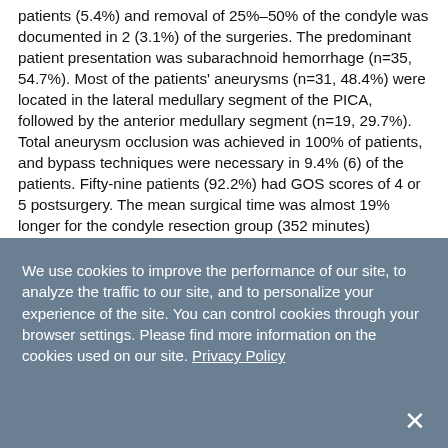patients (5.4%) and removal of 25%-50% of the condyle was documented in 2 (3.1%) of the surgeries. The predominant patient presentation was subarachnoid hemorrhage (n=35, 54.7%). Most of the patients' aneurysms (n=31, 48.4%) were located in the lateral medullary segment of the PICA, followed by the anterior medullary segment (n=19, 29.7%). Total aneurysm occlusion was achieved in 100% of patients, and bypass techniques were necessary in 9.4% (6) of the patients. Fifty-nine patients (92.2%) had GOS scores of 4 or 5 postsurgery. The mean surgical time was almost 19% longer for the condyle resection group (352 minutes) compared with the intact condyle group (297 minutes).
Conclusions: The modified far-lateral approach without...
We use cookies to improve the performance of our site, to analyze the traffic to our site, and to personalize your experience of the site. You can control cookies through your browser settings. Please find more information on the cookies used on our site. Privacy Policy